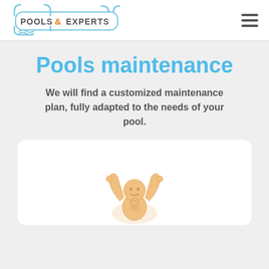Pools & Experts (logo) | navigation menu
Pools maintenance
We will find a customized maintenance plan, fully adapted to the needs of your pool.
[Figure (illustration): White rounded card containing a faint illustrated figure (person/mascot with raised arms) in light orange/gold tones, partially visible at the bottom.]